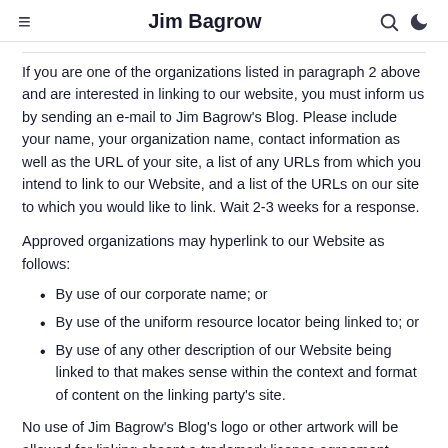≡   Jim Bagrow   🔍 🌙
If you are one of the organizations listed in paragraph 2 above and are interested in linking to our website, you must inform us by sending an e-mail to Jim Bagrow's Blog. Please include your name, your organization name, contact information as well as the URL of your site, a list of any URLs from which you intend to link to our Website, and a list of the URLs on our site to which you would like to link. Wait 2-3 weeks for a response.
Approved organizations may hyperlink to our Website as follows:
By use of our corporate name; or
By use of the uniform resource locator being linked to; or
By use of any other description of our Website being linked to that makes sense within the context and format of content on the linking party's site.
No use of Jim Bagrow's Blog's logo or other artwork will be allowed for linking absent a trademark license agreement.